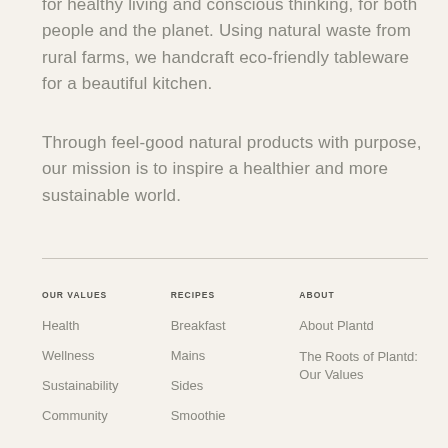for healthy living and conscious thinking, for both people and the planet. Using natural waste from rural farms, we handcraft eco-friendly tableware for a beautiful kitchen.
Through feel-good natural products with purpose, our mission is to inspire a healthier and more sustainable world.
OUR VALUES
RECIPES
ABOUT
Health
Breakfast
About Plantd
Wellness
Mains
The Roots of Plantd: Our Values
Sustainability
Sides
Community
Smoothie